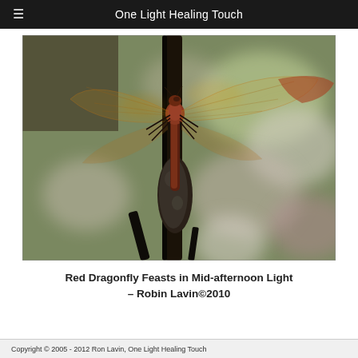One Light Healing Touch
[Figure (photo): Close-up photograph of a red dragonfly perched on a dark cattail stem, with translucent wings spread, warm amber tones, blurred green and pink bokeh background]
Red Dragonfly Feasts in Mid-afternoon Light – Robin Lavin©2010
Copyright © 2005 - 2012 Ron Lavin, One Light Healing Touch